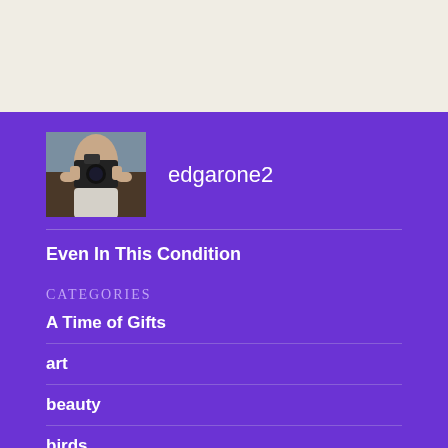[Figure (photo): Person holding a camera up to their face, outdoors]
edgarone2
Even In This Condition
CATEGORIES
A Time of Gifts
art
beauty
birds